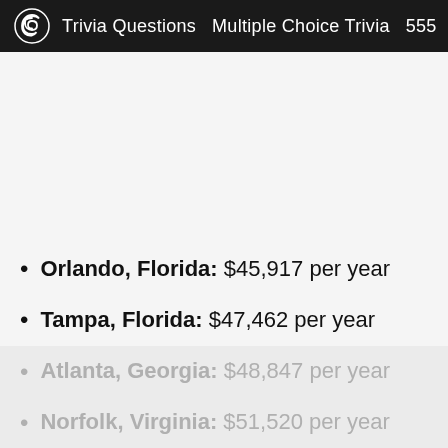Trivia Questions   Multiple Choice Trivia   555
Orlando, Florida: $45,917 per year
Tampa, Florida: $47,462 per year
Atlanta, Georgia: $48,847 per year
Norfolk, Virginia: $51,520 per year